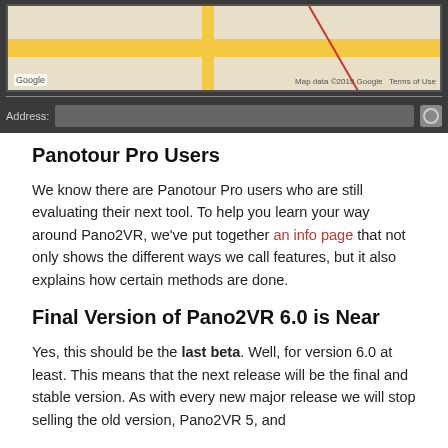[Figure (screenshot): Screenshot of a map interface showing a Google Maps view with yellow roads and a red route line, plus an address bar input field below the map on a dark background.]
Panotour Pro Users
We know there are Panotour Pro users who are still evaluating their next tool. To help you learn your way around Pano2VR, we’ve put together an info page that not only shows the different ways we call features, but it also explains how certain methods are done.
Final Version of Pano2VR 6.0 is Near
Yes, this should be the last beta. Well, for version 6.0 at least. This means that the next release will be the final and stable version. As with every new major release we will stop selling the old version, Pano2VR 5, and